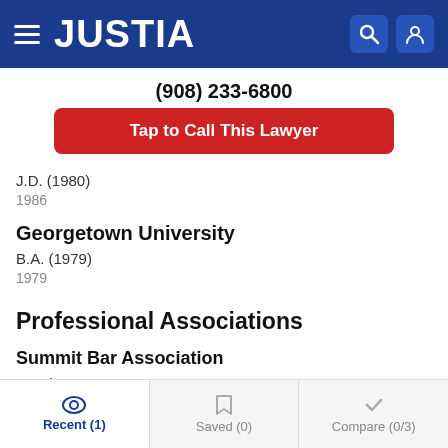JUSTIA
(908) 233-6800
Tap to Call This Lawyer
J.D. (1980)
1986
Georgetown University
B.A. (1979)
1979
Professional Associations
Summit Bar Association
Member
Recent (1)   Saved (0)   Compare (0/3)